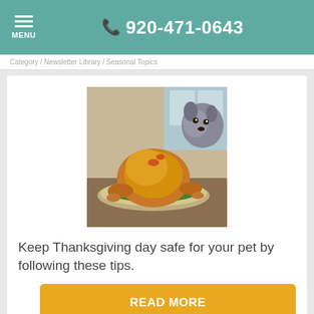☰ MENU  📞 920-471-0643
Category / Newsletter Library / Seasonal Topics
[Figure (photo): Photo of a roasted turkey on a platter with a dog peeking in the background]
Keep Thanksgiving day safe for your pet by following these tips.
READ MORE
November is